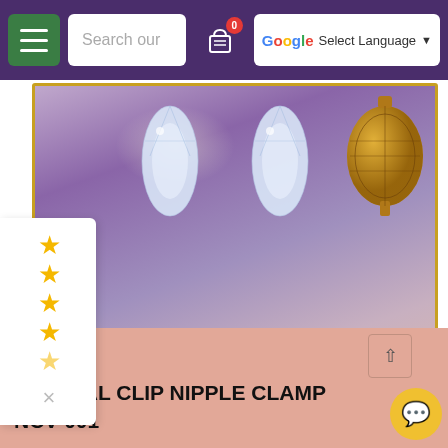[Figure (screenshot): E-commerce website navigation bar with hamburger menu (green), search box, cart icon with badge '0', and Google Translate language selector on purple background]
[Figure (photo): Product banner showing crystal clip nipple clamp jewelry items (crystal teardrops) and a gold Moroccan lantern against a purple/pink gradient background with city skyline and 'dubaisextoys' watermark]
[Figure (other): Rating widget showing 4 gold stars and 1 partial gold star with an X close button]
CRYSTAL CLIP NIPPLE CLAMP NCV-001